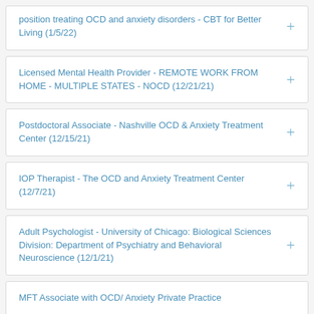position treating OCD and anxiety disorders - CBT for Better Living (1/5/22)
Licensed Mental Health Provider - REMOTE WORK FROM HOME - MULTIPLE STATES - NOCD (12/21/21)
Postdoctoral Associate - Nashville OCD & Anxiety Treatment Center (12/15/21)
IOP Therapist - The OCD and Anxiety Treatment Center (12/7/21)
Adult Psychologist - University of Chicago: Biological Sciences Division: Department of Psychiatry and Behavioral Neuroscience (12/1/21)
MFT Associate with OCD/ Anxiety Private Practice